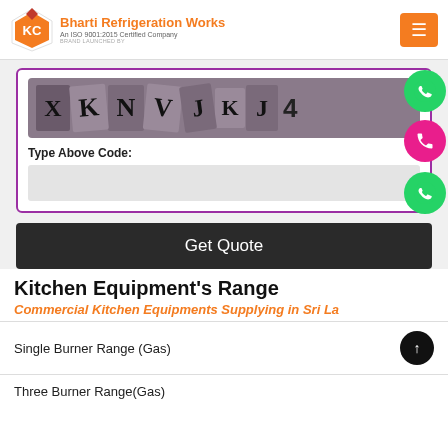Bharti Refrigeration Works — An ISO 9001:2015 Certified Company — BRAND LAUNCHED BY KITCHEN CONCEPTS
[Figure (screenshot): CAPTCHA image showing characters X K N V J K J 4 on a dark mauve background with alternating raised tile styles]
Type Above Code:
[Figure (screenshot): Empty text input field for captcha entry]
Get Quote
Kitchen Equipment's Range
Commercial Kitchen Equipments Supplying in Sri La
Single Burner Range (Gas)
Three Burner Range(Gas)